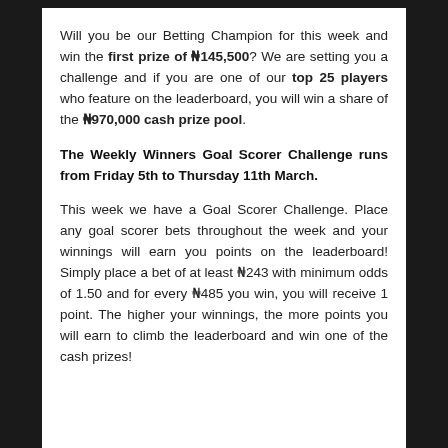Will you be our Betting Champion for this week and win the first prize of ₦145,500? We are setting you a challenge and if you are one of our top 25 players who feature on the leaderboard, you will win a share of the ₦970,000 cash prize pool.
The Weekly Winners Goal Scorer Challenge runs from Friday 5th to Thursday 11th March.
This week we have a Goal Scorer Challenge. Place any goal scorer bets throughout the week and your winnings will earn you points on the leaderboard! Simply place a bet of at least ₦243 with minimum odds of 1.50 and for every ₦485 you win, you will receive 1 point. The higher your winnings, the more points you will earn to climb the leaderboard and win one of the cash prizes!